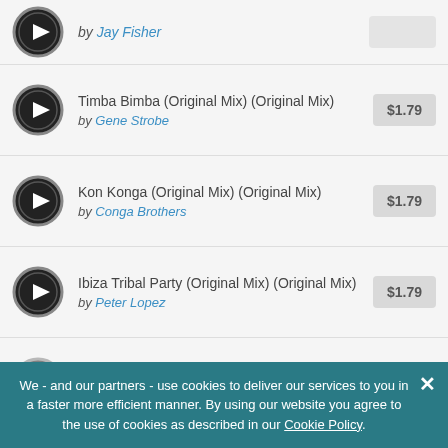by Jay Fisher
Timba Bimba (Original Mix) (Original Mix) by Gene Strobe $1.79
Kon Konga (Original Mix) (Original Mix) by Conga Brothers $1.79
Ibiza Tribal Party (Original Mix) (Original Mix) by Peter Lopez $1.79
El Matador (Original Mix) (Original Mix) by Claude Fresco $1.79
We - and our partners - use cookies to deliver our services to you in a faster more efficient manner. By using our website you agree to the use of cookies as described in our Cookie Policy.